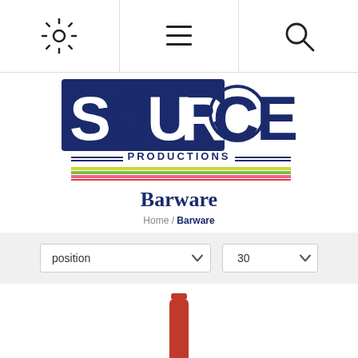[Figure (screenshot): Navigation bar with three icons: gear/settings icon on left, menu/lines icon in center, search/magnifying glass icon on right, separated by vertical dividers]
[Figure (logo): Source Productions logo: stylized 'SOURCE' text in dark navy blue with hand-drawn/grunge style lettering, 'PRODUCTIONS' in smaller caps below, decorative double lines flanking 'PRODUCTIONS', and colorful horizontal stripes (yellow-green, green, pink/red) below]
Barware
Home / Barware
[Figure (screenshot): Filter/sort bar with two dropdown selects: 'position' dropdown on left and '30' dropdown on right, on a light grey background]
[Figure (photo): Partial view of a wine bottle with a red/terracotta capsule top, cut off at the bottom of the page]